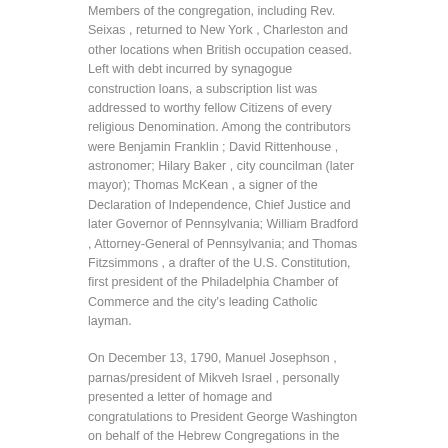Members of the congregation, including Rev. Seixas , returned to New York , Charleston and other locations when British occupation ceased. Left with debt incurred by synagogue construction loans, a subscription list was addressed to worthy fellow Citizens of every religious Denomination. Among the contributors were Benjamin Franklin ; David Rittenhouse , astronomer; Hilary Baker , city councilman (later mayor); Thomas McKean , a signer of the Declaration of Independence, Chief Justice and later Governor of Pennsylvania; William Bradford , Attorney-General of Pennsylvania; and Thomas Fitzsimmons , a drafter of the U.S. Constitution, first president of the Philadelphia Chamber of Commerce and the city's leading Catholic layman.
On December 13, 1790, Manuel Josephson , parnas/president of Mikveh Israel , personally presented a letter of homage and congratulations to President George Washington on behalf of the Hebrew Congregations in the Cities of Philadelphia, New York, Charleston and Richmond, for his elevation to the chair of